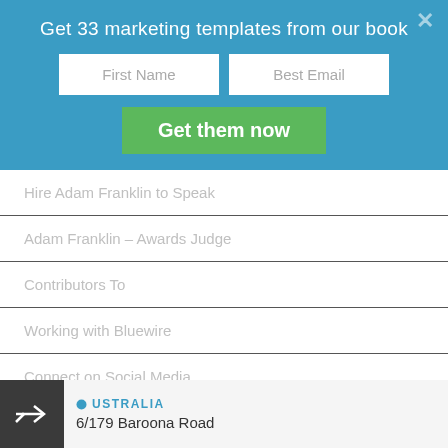Get 33 marketing templates from our book
First Name
Best Email
Get them now
Hire Adam Franklin to Speak
Adam Franklin – Awards Judge
Contributors To
Working with Bluewire
Connect on Social Media
Disclosure
[Figure (infographic): Social media icons row: RSS, Facebook, Twitter, Google+, LinkedIn, YouTube, Pinterest, Instagram]
AUSTRALIA
6/179 Baroona Road